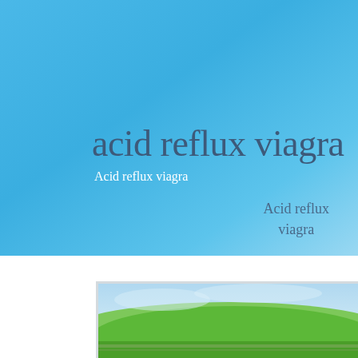[Figure (photo): Blue sky gradient background with text overlay — hero section of a webpage about acid reflux viagra]
acid reflux viagra
Acid reflux viagra
Acid reflux
viagra
[Figure (photo): Landscape photograph showing green rolling hills with stone walls under a partly cloudy sky, shown partially at bottom of page]